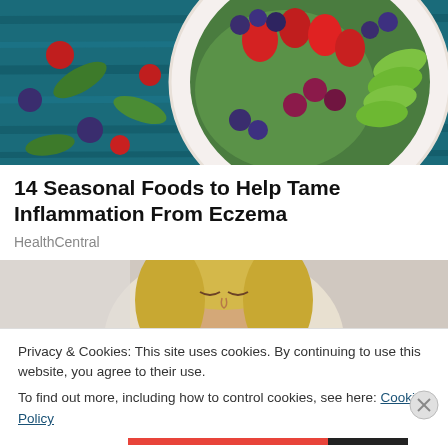[Figure (photo): Overhead photo of a white plate with a colorful salad featuring strawberries, blueberries, raspberries, blackberries, avocado slices, and leafy greens on a blue wooden background]
14 Seasonal Foods to Help Tame Inflammation From Eczema
HealthCentral
[Figure (photo): Close-up photo of a blonde woman with eyes closed, possibly suffering from a headache or illness]
Privacy & Cookies: This site uses cookies. By continuing to use this website, you agree to their use.
To find out more, including how to control cookies, see here: Cookie Policy
Close and accept